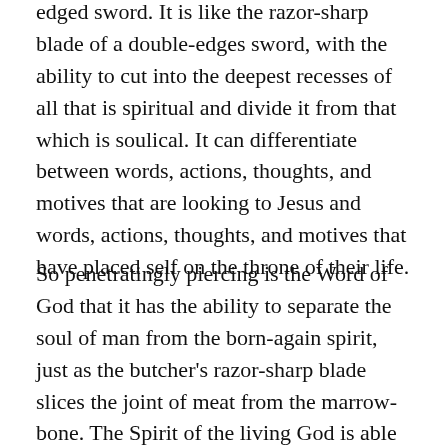edged sword. It is like the razor-sharp blade of a double-edges sword, with the ability to cut into the deepest recesses of all that is spiritual and divide it from that which is soulical. It can differentiate between words, actions, thoughts, and motives that are looking to Jesus and words, actions, thoughts, and motives that have placed self on the throne of their life.
So penetratingly piercing is the Word of God that it has the ability to separate the soul of man from the born-again spirit, just as the butcher's razor-sharp blade slices the joint of meat from the marrow-bone. The Spirit of the living God is able to judge the deepest thoughts and intentions of the heart of every man.